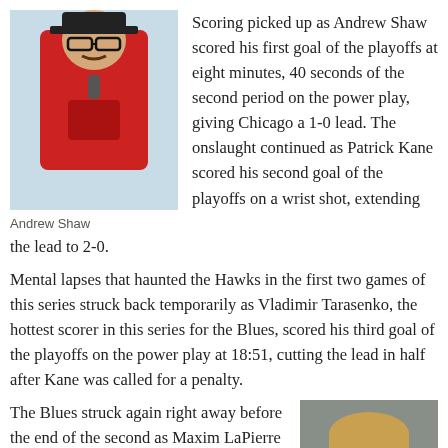[Figure (photo): Andrew Shaw wearing red jersey and glasses, speaking at a microphone outdoors]
Andrew Shaw
Scoring picked up as Andrew Shaw scored his first goal of the playoffs at eight minutes, 40 seconds of the second period on the power play, giving Chicago a 1-0 lead. The onslaught continued as Patrick Kane scored his second goal of the playoffs on a wrist shot, extending the lead to 2-0.
Mental lapses that haunted the Hawks in the first two games of this series struck back temporarily as Vladimir Tarasenko, the hottest scorer in this series for the Blues, scored his third goal of the playoffs on the power play at 18:51, cutting the lead in half after Kane was called for a penalty.
The Blues struck again right away before the end of the second as Maxim LaPierre delivered his first playoff goal (19:56), tying the score at 2-2. The sold out UC crowd was restless and nervous at this point and they had every reason
[Figure (photo): Headshot of a blonde male hockey player against gray background]